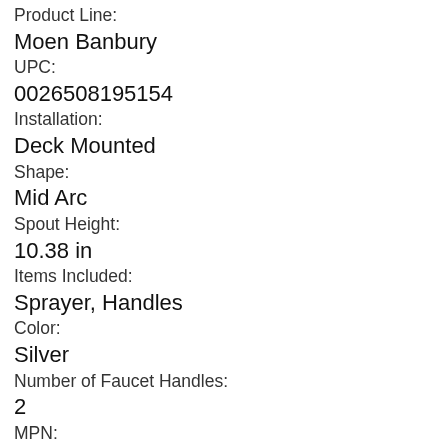Product Line:
Moen Banbury
UPC:
0026508195154
Installation:
Deck Mounted
Shape:
Mid Arc
Spout Height:
10.38 in
Items Included:
Sprayer, Handles
Color:
Silver
Number of Faucet Handles:
2
MPN:
CA87553
Material:
Brass, Chrome, Plastic
Suitable For:
Kitchen Sink
Faucet Hole Spacing:
4 in
Brand:
Moen